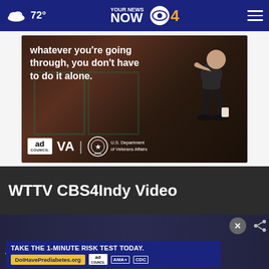72° YOUR NEWS NOW CBS 4
[Figure (photo): Advertisement image showing a person sitting alone on a chair looking distressed. Text reads 'whatever you're going through, you don't have to do it alone.' Logos for Ad Council, VA, and U.S. Department of Veterans Affairs are shown at the bottom.]
WTTV CBS4Indy Video
[Figure (screenshot): Video thumbnail showing hockey players on ice. Overlay advertisement reads 'TAKE THE 1-MINUTE RISK TEST TODAY.' with URL 'DoIHavePrediabetes.org' and logos for Ad Council, AMA, and CDC. A close button (X) and share icon are visible.]